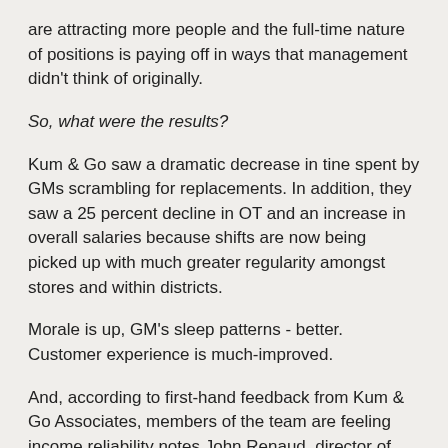are attracting more people and the full-time nature of positions is paying off in ways that management didn't think of originally.
So, what were the results?
Kum & Go saw a dramatic decrease in tine spent by GMs scrambling for replacements. In addition, they saw a 25 percent decline in OT and an increase in overall salaries because shifts are now being picked up with much greater regularity amongst stores and within districts.
Morale is up, GM's sleep patterns - better. Customer experience is much-improved.
And, according to first-hand feedback from Kum & Go Associates, members of the team are feeling income reliability notes John Renaud, director of operations.